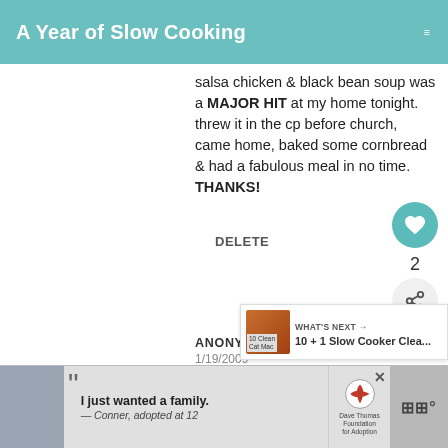A Year of Slow Cooking
salsa chicken & black bean soup was a MAJOR HIT at my home tonight. threw it in the cp before church, came home, baked some cornbread & had a fabulous meal in no time. THANKS!
DELETE
ANONYMOUS
1/19/2009
I definitely said that I was going to with my crockpot this year. It makes me so much easier!
[Figure (screenshot): WHAT'S NEXT promotional banner with thumbnail image and text '10 + 1 Slow Cooker Clea...']
[Figure (screenshot): Advertisement banner: Dave Thomas Foundation for Adoption. Photo of young man, quote 'I just wanted a family. — Conner, adopted at 12']